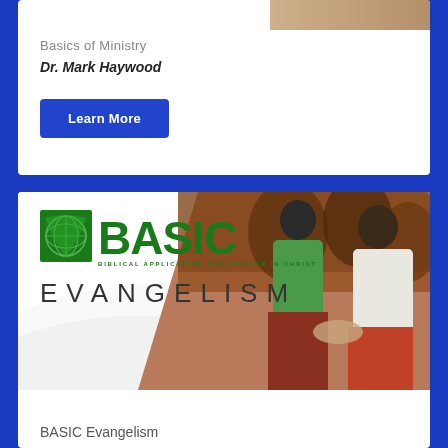[Figure (photo): Cropped photo of a person at top of first course card]
Basics of Ministry
Dr. Mark Haywood
Learn More
[Figure (illustration): BASIC Evangelism course card with logo showing globe/leaf icon and text 'BASIC - BIBLICAL APPLICATION FOR SERVICE IN CHRIST' and 'EVANGELISM', with photo of two men shaking hands in background]
BASIC Evangelism